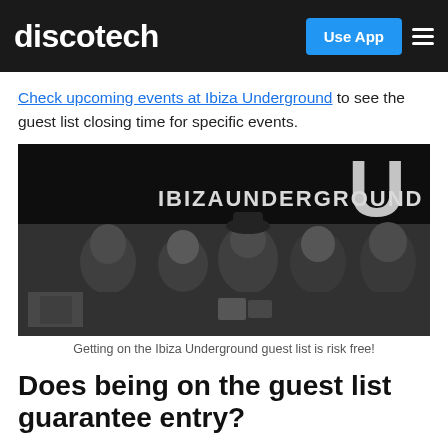discotech | Use App | menu
Check upcoming events at Ibiza Underground to see the guest list closing time for specific events.
[Figure (photo): Black and white photo of people sitting at a table in front of an Ibiza Underground banner/sign]
Getting on the Ibiza Underground guest list is risk free!
Does being on the guest list guarantee entry?